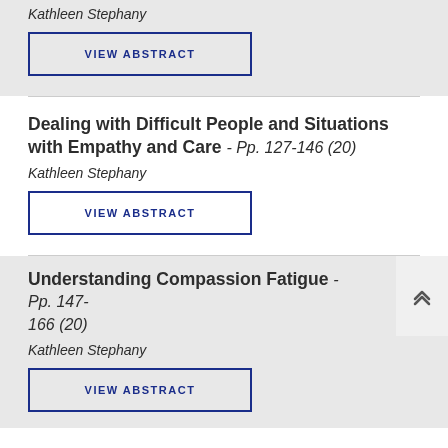Kathleen Stephany
VIEW ABSTRACT
Dealing with Difficult People and Situations with Empathy and Care - Pp. 127-146 (20)
Kathleen Stephany
VIEW ABSTRACT
Understanding Compassion Fatigue - Pp. 147-166 (20)
Kathleen Stephany
VIEW ABSTRACT